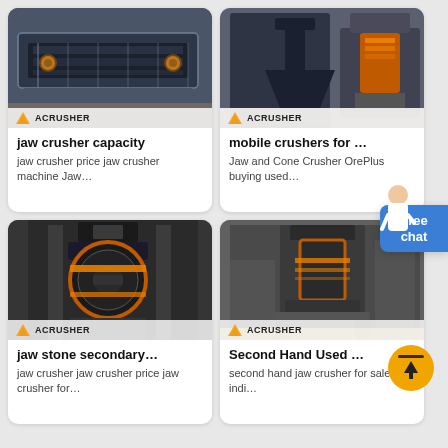[Figure (photo): Industrial jaw/vibrating screen machine inside factory, Acrusher branded]
jaw crusher capacity
jaw crusher price jaw crusher machine Jaw…
[Figure (photo): Mobile cone crusher in factory setting, Acrusher branded]
mobile crushers for …
Jaw and Cone Crusher OrePlus buying used…
[Figure (photo): Vertical shaft cone crusher machine, Acrusher branded]
jaw stone secondary…
jaw crusher jaw crusher price jaw crusher for…
[Figure (photo): Large cone crusher in industrial warehouse, Acrusher branded]
Second Hand Used …
second hand jaw crusher for sale in indi…